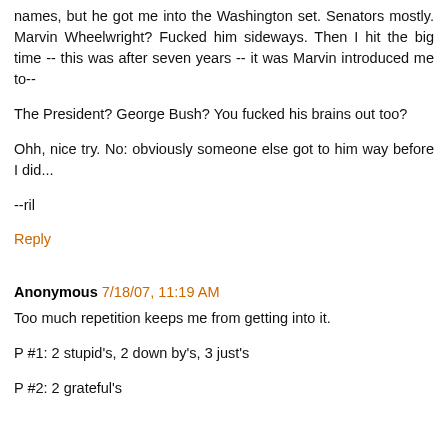names, but he got me into the Washington set. Senators mostly. Marvin Wheelwright? Fucked him sideways. Then I hit the big time -- this was after seven years -- it was Marvin introduced me to--
The President? George Bush? You fucked his brains out too?
Ohh, nice try. No: obviously someone else got to him way before I did...
--ril
Reply
Anonymous 7/18/07, 11:19 AM
Too much repetition keeps me from getting into it.
P #1: 2 stupid's, 2 down by's, 3 just's
P #2: 2 grateful's